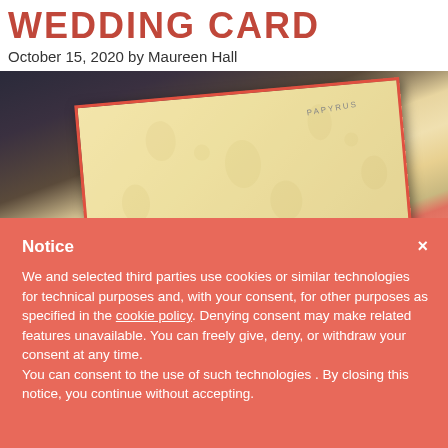WEDDING CARD
October 15, 2020 by Maureen Hall
[Figure (photo): Close-up photo of a Papyrus brand wedding card with gold/cream floral pattern, red border, against a blurred dark background]
Notice
We and selected third parties use cookies or similar technologies for technical purposes and, with your consent, for other purposes as specified in the cookie policy. Denying consent may make related features unavailable. You can freely give, deny, or withdraw your consent at any time.
You can consent to the use of such technologies . By closing this notice, you continue without accepting.